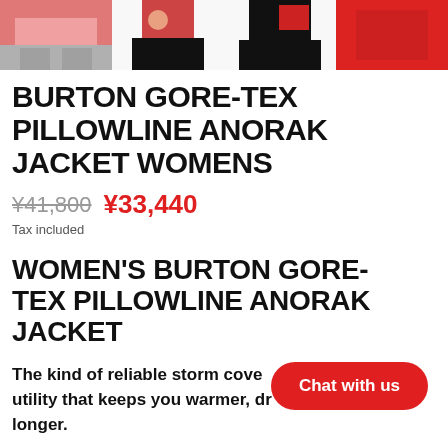[Figure (photo): Four thumbnail images of the Burton Gore-Tex Pillowline Anorak Jacket in various colors and poses]
BURTON GORE-TEX PILLOWLINE ANORAK JACKET WOMENS
¥41,800 ¥33,440
Tax included
WOMEN'S BURTON GORE-TEX PILLOWLINE ANORAK JACKET
The kind of reliable storm coverage and all-day utility that keeps you warmer, dryer, and going longer.